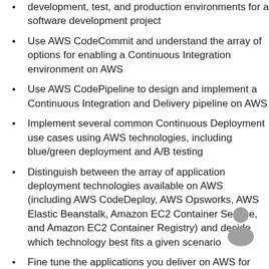development, test, and production environments for a software development project
Use AWS CodeCommit and understand the array of options for enabling a Continuous Integration environment on AWS
Use AWS CodePipeline to design and implement a Continuous Integration and Delivery pipeline on AWS
Implement several common Continuous Deployment use cases using AWS technologies, including blue/green deployment and A/B testing
Distinguish between the array of application deployment technologies available on AWS (including AWS CodeDeploy, AWS Opsworks, AWS Elastic Beanstalk, Amazon EC2 Container Service, and Amazon EC2 Container Registry) and decide which technology best fits a given scenario
Fine tune the applications you deliver on AWS for high performance and use AWS tools and